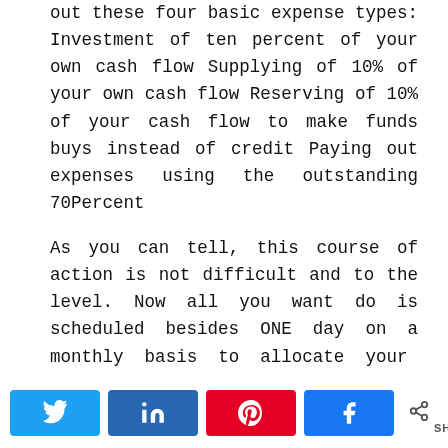out these four basic expense types: Investment of ten percent of your own cash flow Supplying of 10% of your own cash flow Reserving of 10% of your cash flow to make funds buys instead of credit Paying out expenses using the outstanding 70Percent
As you can tell, this course of action is not difficult and to the level. Now all you want do is scheduled besides ONE day on a monthly basis to allocate your month-to-month earnings into these groups. This can help you learn to handle dollars without needing to
[Figure (infographic): Social sharing bar with Twitter, LinkedIn, Pinterest, and Facebook buttons, plus a share count showing 0 SHARES]